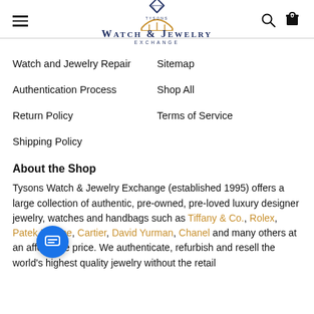Tysons Watch & Jewelry Exchange — navigation header with hamburger menu, logo, search and cart icons
Watch and Jewelry Repair
Sitemap
Authentication Process
Shop All
Return Policy
Terms of Service
Shipping Policy
About the Shop
Tysons Watch & Jewelry Exchange (established 1995) offers a large collection of authentic, pre-owned, pre-loved luxury designer jewelry, watches and handbags such as Tiffany & Co., Rolex, Patek Phillipe, Cartier, David Yurman, Chanel and many others at an affordable price. We authenticate, refurbish and resell the world's highest quality jewelry without the retail